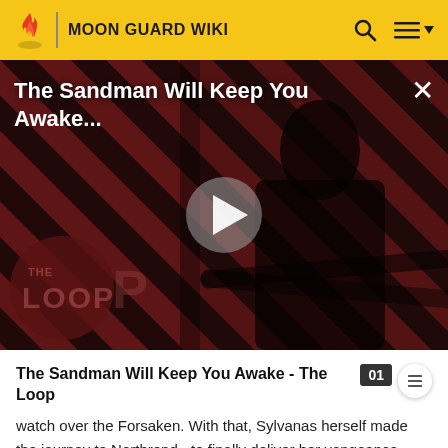MOON GUARD WIKI
[Figure (screenshot): Video thumbnail for 'The Sandman Will Keep You Awake - The Loop' showing a dark-clad figure against diagonal red and dark stripe background with a play button in the center and The Loop watermark logo in the bottom left.]
The Sandman Will Keep You Awake - The Loop
watch over the Forsaken. With that, Sylvanas herself made the journey to Northrend - to finally deliver her vengeance upon Arthas.